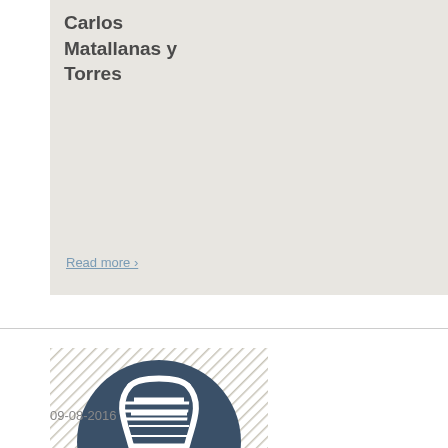Carlos Matallanas y Torres
Read more ›
[Figure (illustration): DNA double helix icon in white on dark blue-grey circle background, set over a light diagonal-striped square background]
Identifican nuevos genes asociados a ELA
Read more ›
09-08-2016